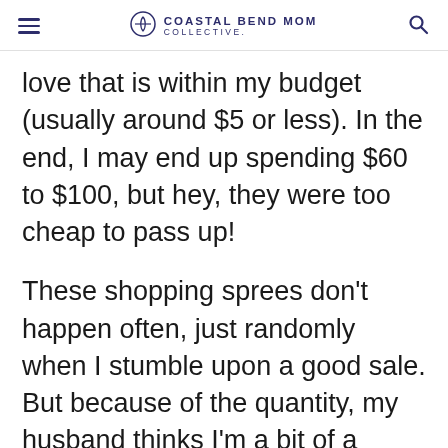COASTAL BEND MOM COLLECTIVE.
love that is within my budget (usually around $5 or less). In the end, I may end up spending $60 to $100, but hey, they were too cheap to pass up!
These shopping sprees don't happen often, just randomly when I stumble upon a good sale. But because of the quantity, my husband thinks I'm a bit of a compulsive shopper. I always argue that I saved money because of the great sales I found, but he always counters that